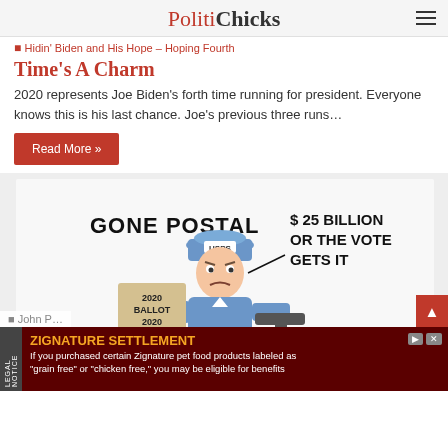PolitiChicks
Hidin' Biden and His Hope – Hoping Fourth Time's A Charm
2020 represents Joe Biden's forth time running for president. Everyone knows this is his last chance. Joe's previous three runs…
Read More »
[Figure (illustration): Political cartoon titled 'Gone Postal' showing a USPS postal worker holding 2020 Ballot papers in one hand and pointing a gun with the other, with caption '$ 25 BILLION OR THE VOTE GETS IT']
John P…
ZIGNATURE SETTLEMENT
If you purchased certain Zignature pet food products labeled as "grain free" or "chicken free," you may be eligible for benefits